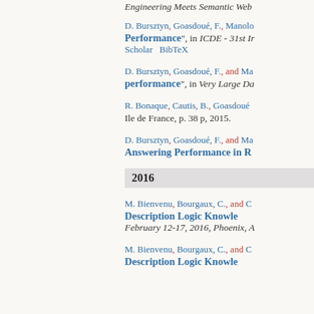Engineering Meets Semantic Web
D. Bursztyn, Goasdoué, F., Manolo... "Performance", in ICDE - 31st In... Scholar BibTeX
D. Bursztyn, Goasdoué, F., and Ma... "performance", in Very Large Da...
R. Bonaque, Cautis, B., Goasdoué... Ile de France, p. 38 p, 2015.
D. Bursztyn, Goasdoué, F., and Ma... Answering Performance in R...
2016
M. Bienvenu, Bourgaux, C., and C... Description Logic Knowledge... February 12-17, 2016, Phoenix, A...
M. Bienvenu, Bourgaux, C., and C... Description Logic Knowledge...